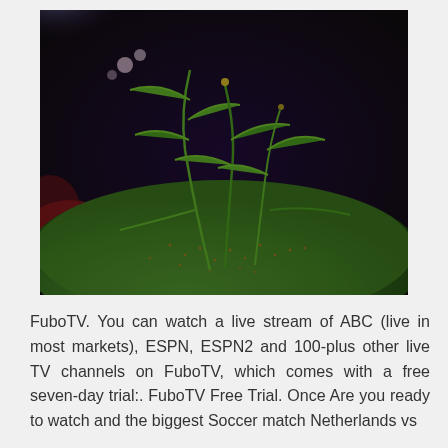[Figure (photo): Close-up photo of green plants and small wildflowers growing on a mossy, textured mound. The background is dark and blurred with hints of purple and red foliage. The moss is a vivid green with small red-orange spores.]
FuboTV. You can watch a live stream of ABC (live in most markets), ESPN, ESPN2 and 100-plus other live TV channels on FuboTV, which comes with a free seven-day trial:. FuboTV Free Trial. Once Are you ready to watch and the biggest Soccer match Netherlands vs